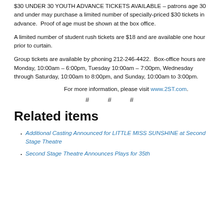$30 UNDER 30 YOUTH ADVANCE TICKETS AVAILABLE – patrons age 30 and under may purchase a limited number of specially-priced $30 tickets in advance. Proof of age must be shown at the box office.
A limited number of student rush tickets are $18 and are available one hour prior to curtain.
Group tickets are available by phoning 212-246-4422. Box-office hours are Monday, 10:00am – 6:00pm, Tuesday 10:00am – 7:00pm, Wednesday through Saturday, 10:00am to 8:00pm, and Sunday, 10:00am to 3:00pm.
For more information, please visit www.2ST.com.
# # #
Related items
Additional Casting Announced for LITTLE MISS SUNSHINE at Second Stage Theatre
Second Stage Theatre Announces Plays for 35th